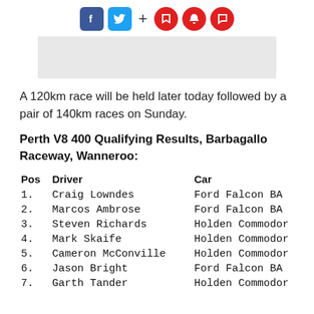[Figure (other): Social media sharing bar with Facebook (blue square), Twitter (blue square), plus sign, and three red circular icons (bookmark, notification, comment)]
[Figure (other): Gray placeholder image box]
A 120km race will be held later today followed by a pair of 140km races on Sunday.
Perth V8 400 Qualifying Results, Barbagallo Raceway, Wanneroo:
| Pos | Driver | Car |
| --- | --- | --- |
| 1. | Craig Lowndes | Ford Falcon BA |
| 2. | Marcos Ambrose | Ford Falcon BA |
| 3. | Steven Richards | Holden Commodor |
| 4. | Mark Skaife | Holden Commodor |
| 5. | Cameron McConville | Holden Commodor |
| 6. | Jason Bright | Ford Falcon BA |
| 7. | Garth Tander | Holden Commodor |